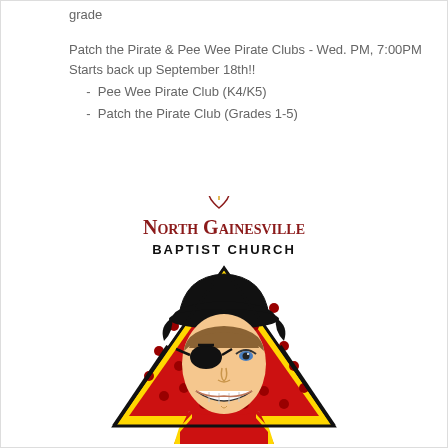grade
Patch the Pirate & Pee Wee Pirate Clubs - Wed. PM, 7:00PM
Starts back up September 18th!!
Pee Wee Pirate Club (K4/K5)
Patch the Pirate Club (Grades 1-5)
[Figure (logo): North Gainesville Baptist Church logo featuring a smiling pirate with an eye patch and tricorn hat inside a yellow and red star/triangle shape, with a heart and cross symbol above the church name text.]